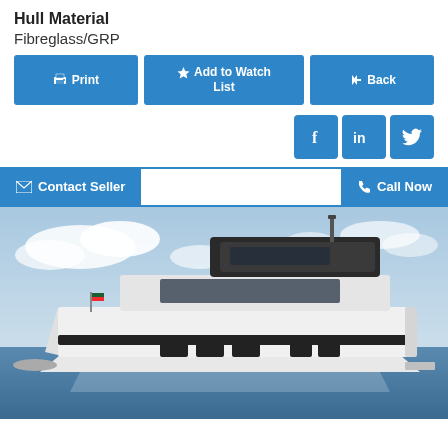Hull Material
Fibreglass/GRP
[Figure (screenshot): Three action buttons: Print, Add to Watch List, Back — blue rounded rectangles]
[Figure (infographic): Social media icons: Facebook (f), LinkedIn (in), Twitter bird — blue square icons]
[Figure (infographic): Contact bar with Contact Seller button on left and Call Now button on right]
[Figure (photo): A modern luxury motor catamaran yacht on calm blue water with sky and clouds in background. The vessel is white with dark windows and a flybridge, with a Bulgarian flag visible.]